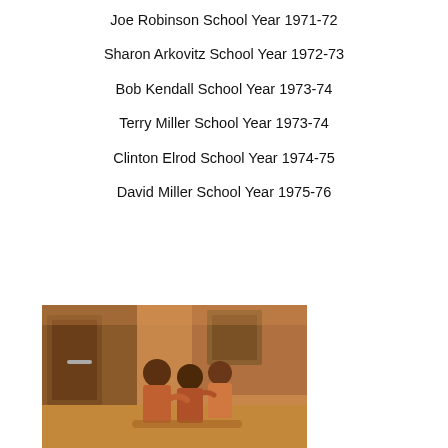Joe Robinson School Year 1971-72
Sharon Arkovitz School Year 1972-73
Bob Kendall School Year 1973-74
Terry Miller School Year 1973-74
Clinton Elrod School Year 1974-75
David Miller School Year 1975-76
[Figure (photo): Vintage photograph showing children or students in what appears to be a school setting, with brick wall visible in background. Warm orange/brown tones typical of 1970s photography.]